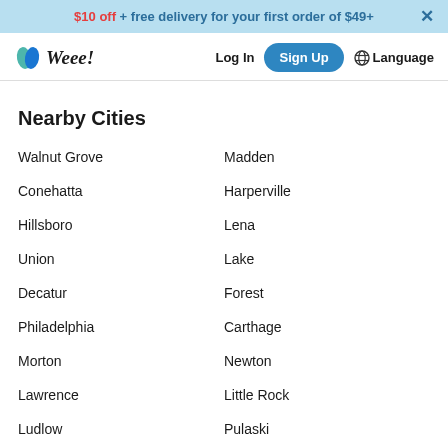$10 off + free delivery for your first order of $49+
[Figure (logo): Weee! grocery delivery logo with green leaf icon]
Nearby Cities
Walnut Grove
Madden
Conehatta
Harperville
Hillsboro
Lena
Union
Lake
Decatur
Forest
Philadelphia
Carthage
Morton
Newton
Lawrence
Little Rock
Ludlow
Pulaski